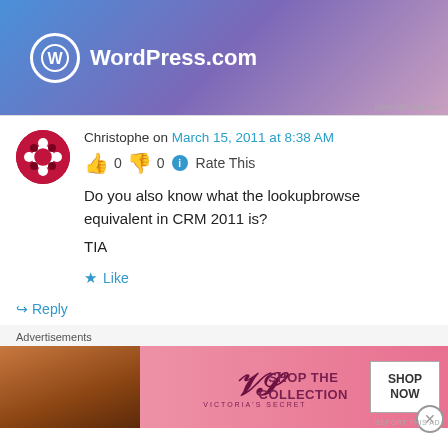[Figure (other): WordPress.com advertisement banner with blue-purple gradient background and WordPress logo]
Christophe on March 15, 2011 at 8:38 AM
👍 0 👎 0 ℹ Rate This
Do you also know what the lookupbrowse equivalent in CRM 2011 is?
TIA
★ Like
↪ Reply
Advertisements
[Figure (other): Victoria's Secret advertisement banner with pink background, model, logo, and SHOP THE COLLECTION / SHOP NOW button]